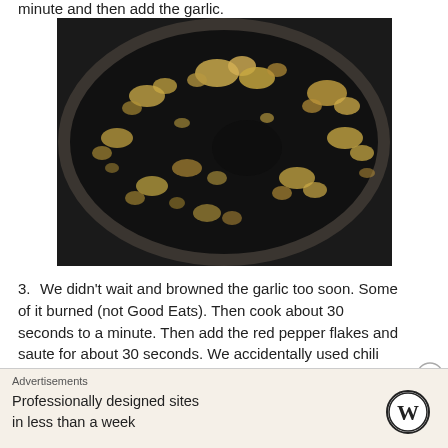minute and then add the garlic.
[Figure (photo): A dark cast iron skillet with browned/burnt minced garlic scattered across the surface]
3. We didn't wait and browned the garlic too soon. Some of it burned (not Good Eats). Then cook about 30 seconds to a minute. Then add the red pepper flakes and saute for about 30 seconds. We accidentally used chili flakes because they
Advertisements
Professionally designed sites in less than a week